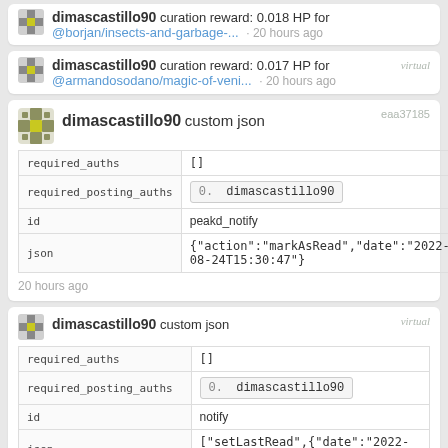dimascastillo90 curation reward: 0.018 HP for @borjan/insects-and-garbage-... · 20 hours ago
dimascastillo90 curation reward: 0.017 HP for @armandosodano/magic-of-veni... · 20 hours ago
dimascastillo90 custom json eaa37185
| key | value |
| --- | --- |
| required_auths | [] |
| required_posting_auths | 0. dimascastillo90 |
| id | peakd_notify |
| json | {"action":"markAsRead","date":"2022-08-24T15:30:47"} |
20 hours ago
dimascastillo90 custom json virtual
| key | value |
| --- | --- |
| required_auths | [] |
| required_posting_auths | 0. dimascastillo90 |
| id | notify |
| json | ["setLastRead",{"date":"2022-08-24T15:30:47"}] |
· 20 hours ago
dimascastillo90 upvote d20be2fd